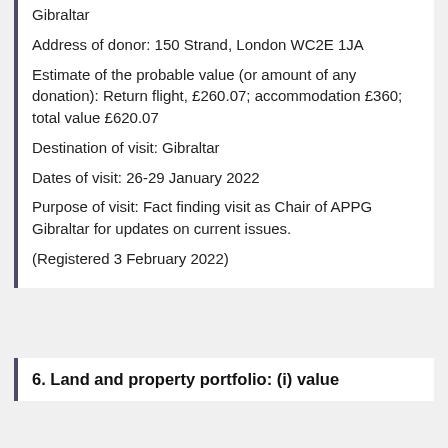Gibraltar
Address of donor: 150 Strand, London WC2E 1JA
Estimate of the probable value (or amount of any donation): Return flight, £260.07; accommodation £360; total value £620.07
Destination of visit: Gibraltar
Dates of visit: 26-29 January 2022
Purpose of visit: Fact finding visit as Chair of APPG Gibraltar for updates on current issues.
(Registered 3 February 2022)
6. Land and property portfolio: (i) value over £100,000 and/or (ii) giving rental income of over £10,000 a year